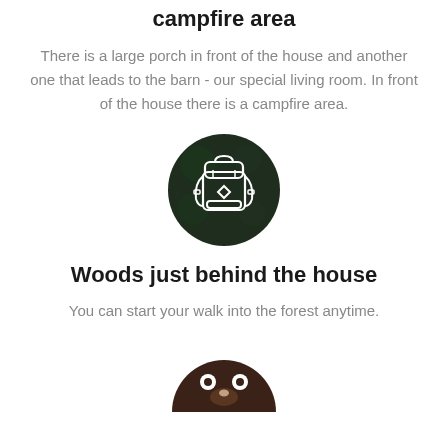campfire area
There is a large porch in front of the house and another one that leads to the barn - our special living room. In front of the house there is a campfire area.
[Figure (illustration): Dark circular icon with a backpack/rucksack illustration in white line art on a dark green forest background]
Woods just behind the house
You can start your walk into the forest anytime.
[Figure (illustration): Dark brown circular icon partially visible at bottom, showing a cartoon animal face with white features]